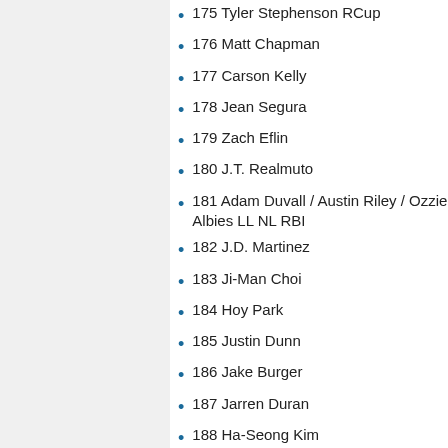175 Tyler Stephenson RCup
176 Matt Chapman
177 Carson Kelly
178 Jean Segura
179 Zach Eflin
180 J.T. Realmuto
181 Adam Duvall / Austin Riley / Ozzie Albies LL NL RBI
182 J.D. Martinez
183 Ji-Man Choi
184 Hoy Park
185 Justin Dunn
186 Jake Burger
187 Jarren Duran
188 Ha-Seong Kim
189 Michael Pineda
190 Emmanuel Clase RCup
191 Willi Castro
192 Eduardo Rodriguez